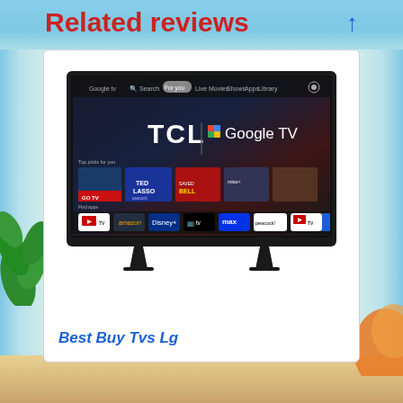Related reviews
[Figure (screenshot): Screenshot of a TCL Google TV smart television product listing image showing the TV's Google TV interface with menu items including 'For you', 'Live', 'Movies', 'Shows', 'Apps', 'Library', content thumbnails for Ted Lasso and other shows, and app icons for YouTube TV, Amazon, Disney+, Apple TV, Max, Peacock]
Best Buy Tvs Lg